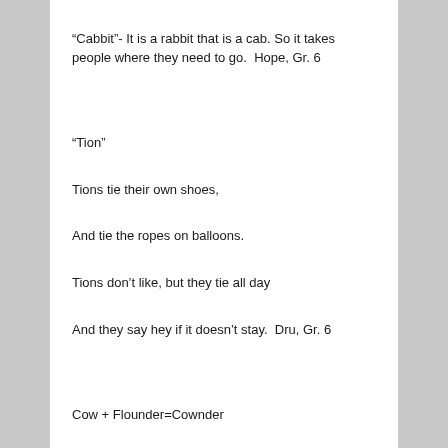“Cabbit”- It is a rabbit that is a cab. So it takes people where they need to go.  Hope, Gr. 6
“Tion”
Tions tie their own shoes,
And tie the ropes on balloons.
Tions don’t like, but they tie all day
And they say hey if it doesn’t stay.  Dru, Gr. 6
Cow + Flounder=Cownder
The Cownder moo in the sea and swim on the grass.  The